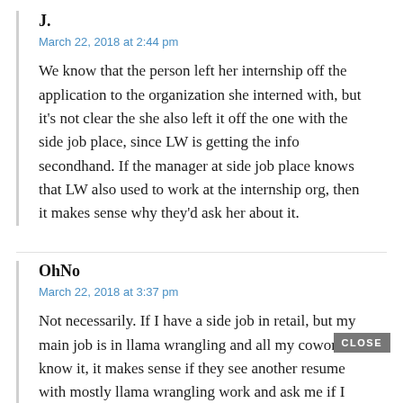J.
March 22, 2018 at 2:44 pm
We know that the person left her internship off the application to the organization she interned with, but it’s not clear the she also left it off the one with the side job place, since LW is getting the info secondhand. If the manager at side job place knows that LW also used to work at the internship org, then it makes sense why they’d ask her about it.
OhNo
March 22, 2018 at 3:37 pm
Not necessarily. If I have a side job in retail, but my main job is in llama wrangling and all my coworkers know it, it makes sense if they see another resume with mostly llama wrangling work and ask me if I know so-and-so...